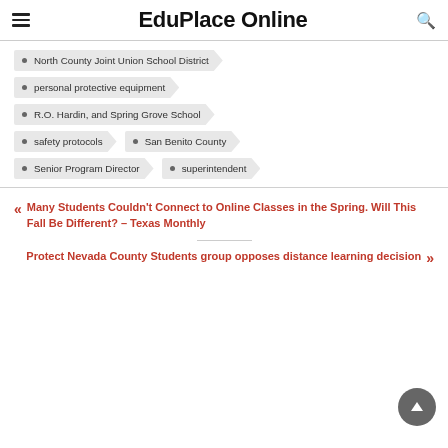EduPlace Online
North County Joint Union School District
personal protective equipment
R.O. Hardin, and Spring Grove School
safety protocols
San Benito County
Senior Program Director
superintendent
Many Students Couldn't Connect to Online Classes in the Spring. Will This Fall Be Different? – Texas Monthly
Protect Nevada County Students group opposes distance learning decision